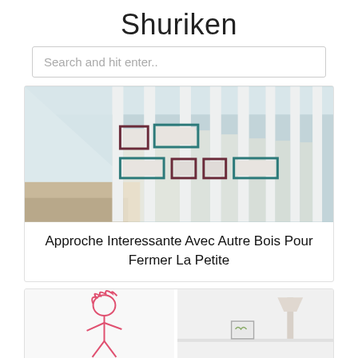Shuriken
Search and hit enter..
[Figure (photo): Interior staircase with vertical white wooden slats and various framed pictures hanging on the balustrade, photographed from below looking up.]
Approche Interessante Avec Autre Bois Pour Fermer La Petite
[Figure (photo): Bottom partial view of two photos side by side: left shows a child's crayon drawing of a person with pink hair, right shows a lamp or decorative object on a white shelf.]